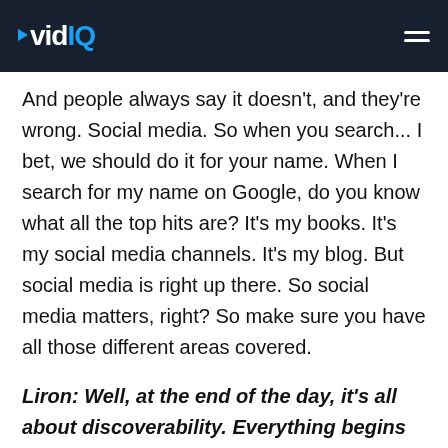vidIQ
And people always say it doesn't, and they're wrong. Social media. So when you search... I bet, we should do it for your name. When I search for my name on Google, do you know what all the top hits are? It's my books. It's my social media channels. It's my blog. But social media is right up there. So social media matters, right? So make sure you have all those different areas covered.
Liron: Well, at the end of the day, it's all about discoverability. Everything begins at the Google search box. If you're applying for a job,